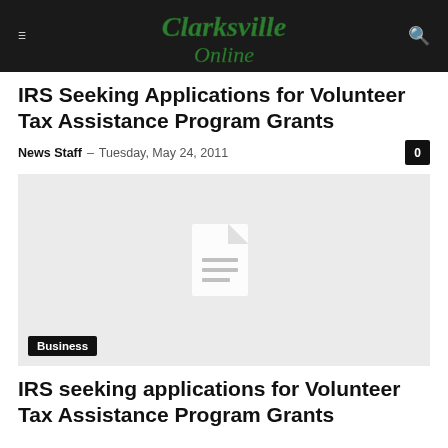Clarksville Online
IRS Seeking Applications for Volunteer Tax Assistance Program Grants
News Staff – Tuesday, May 24, 2011
[Figure (illustration): Gray placeholder image with a document icon in the center and a 'Business' category tag at the bottom left]
IRS seeking applications for Volunteer Tax Assistance Program Grants